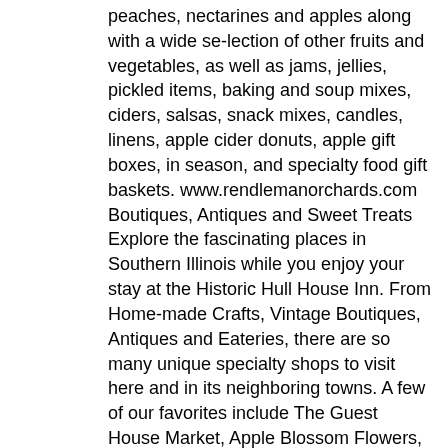peaches, nectarines and apples along with a wide se-lection of other fruits and vegetables, as well as jams, jellies, pickled items, baking and soup mixes, ciders, salsas, snack mixes, candles, linens, apple cider donuts, apple gift boxes, in season, and specialty food gift baskets. www.rendlemanorchards.com Boutiques, Antiques and Sweet Treats Explore the fascinating places in Southern Illinois while you enjoy your stay at the Historic Hull House Inn. From Home-made Crafts, Vintage Boutiques, Antiques and Eateries, there are so many unique specialty shops to visit here and in its neighboring towns. A few of our favorites include The Guest House Market, Apple Blossom Flowers, Rule of Pie Shop, I Am Java Coffee House, Think Vintage, Pat's BBQ, and One Hot Cookie Shop and 17th Street BBQ & more. Glancer Magazine • AUGUST 2020 • WESTERN SUBURBS • 53VON JAKOB WINERY • www.vonjakobvineyard.com Charming Bed & Breakfast Cottages Overlook the Beautiful Rolling Hills of the Shawnee National Forest HISTORIC HULL HOUSE INN • www.historichullhouseinn.com An Italianate style Victorian home built in 1887 by William H. Hull